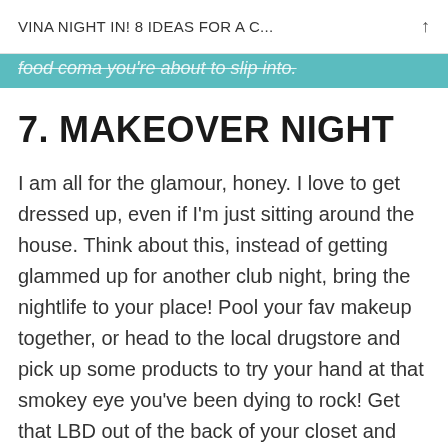VINA NIGHT IN! 8 IDEAS FOR A C...
food coma you're about to slip into.
7. MAKEOVER NIGHT
I am all for the glamour, honey. I love to get dressed up, even if I'm just sitting around the house. Think about this, instead of getting glammed up for another club night, bring the nightlife to your place! Pool your fav makeup together, or head to the local drugstore and pick up some products to try your hand at that smokey eye you've been dying to rock! Get that LBD out of the back of your closet and prepare to get glam and